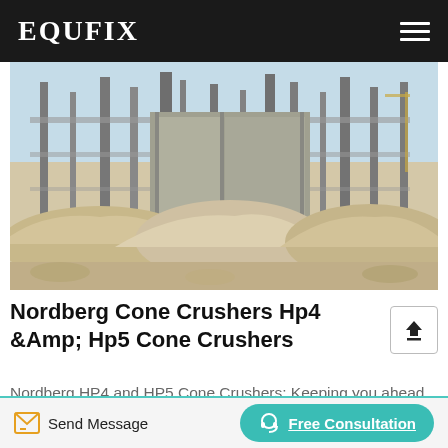EQUFIX
[Figure (photo): Industrial site with piles of crushed stone/sand in foreground and large steel-framed industrial structures/buildings in background under a clear sky]
Nordberg Cone Crushers Hp4 &Amp; Hp5 Cone Crushers
Nordberg HP4 and HP5 Cone Crushers: Keeping you ahead There’s no better choice than a cone crusher ...
Send Message   Free Consultation